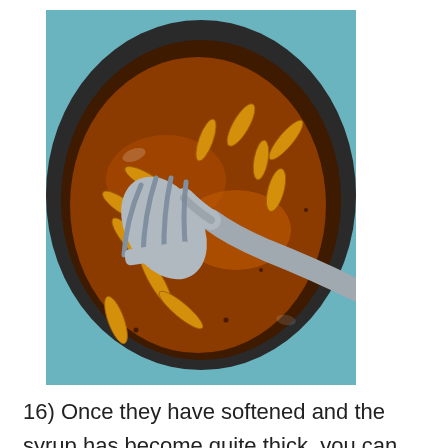[Figure (photo): A dark non-stick frying pan viewed from above containing sliced fruit or vegetables coated in a thick, dark brown caramelized syrup. A metal fork is visible in the center of the pan, stirring or tossing the contents. The background shows a light blue surface.]
16) Once they have softened and the syrup has become quite thick, you can